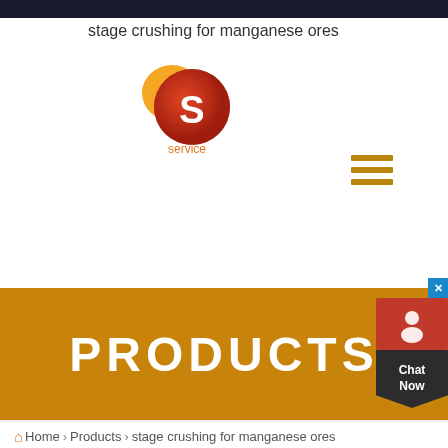stage crushing for manganese ores
[Figure (logo): Orange and red circular logo with white letter S, labeled 'service' below]
[Figure (other): Hamburger menu icon (three horizontal orange lines)]
[Figure (other): Chat Now widget with red chat icon and dark pentagon shape showing 'Chat Now' text]
PRODUCTS
Home > Products > stage crushing for manganese ores
[Figure (photo): Industrial machinery (likely a crusher or mill) in a factory setting with Chinese banners in background]